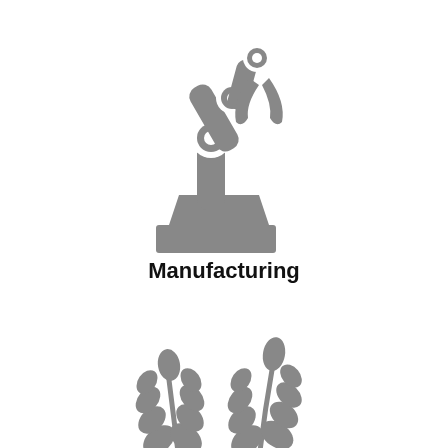[Figure (illustration): Gray icon of an industrial robotic arm with a claw gripper on a pedestal base]
Manufacturing
[Figure (illustration): Gray icon of two wheat stalks forming a decorative plant motif, partially visible at the bottom of the page]